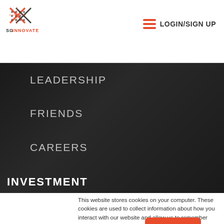[Figure (logo): SGInnovate logo with geometric cross-hatch pattern in red and dark colors, with 'SGINNOVATE' text below]
LOGIN/SIGN UP
LEADERSHIP
FRIENDS
CAREERS
INVESTMENT
This website stores cookies on your computer. These cookies are used to collect information about how you interact with our website and allow us to remember you. We use this information in order to improve and customise your browsing experience and for analytics and metrics about our visitors both on this website and other media. To find out more about the cookies we use, see our Privacy Policy.
Accept